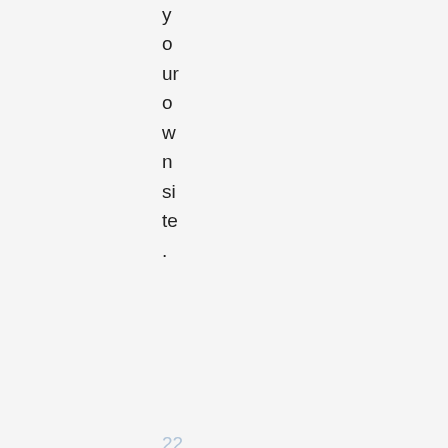your own site.
22 Responses to “SOLV